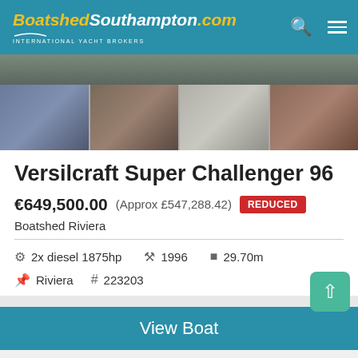BoatshedSouthampton.com INTERNATIONAL YACHT BROKERS
[Figure (photo): Gallery of boat photos: one large top image and four thumbnail images below]
Versilcraft Super Challenger 96
€649,500.00  (Approx £547,288.42)  REDUCED
Boatshed Riviera
2x diesel 1875hp   1996   29.70m
Riviera   223203
View Boat